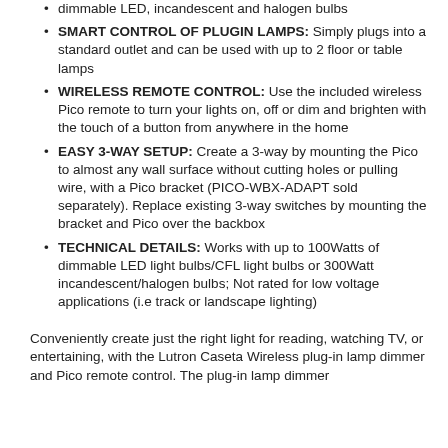dimmable LED, incandescent and halogen bulbs
SMART CONTROL OF PLUGIN LAMPS: Simply plugs into a standard outlet and can be used with up to 2 floor or table lamps
WIRELESS REMOTE CONTROL: Use the included wireless Pico remote to turn your lights on, off or dim and brighten with the touch of a button from anywhere in the home
EASY 3-WAY SETUP: Create a 3-way by mounting the Pico to almost any wall surface without cutting holes or pulling wire, with a Pico bracket (PICO-WBX-ADAPT sold separately). Replace existing 3-way switches by mounting the bracket and Pico over the backbox
TECHNICAL DETAILS: Works with up to 100Watts of dimmable LED light bulbs/CFL light bulbs or 300Watt incandescent/halogen bulbs; Not rated for low voltage applications (i.e track or landscape lighting)
Conveniently create just the right light for reading, watching TV, or entertaining, with the Lutron Caseta Wireless plug-in lamp dimmer and Pico remote control. The plug-in lamp dimmer